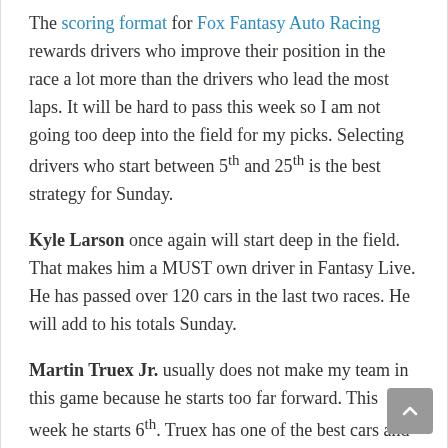The scoring format for Fox Fantasy Auto Racing rewards drivers who improve their position in the race a lot more than the drivers who lead the most laps. It will be hard to pass this week so I am not going too deep into the field for my picks. Selecting drivers who start between 5th and 25th is the best strategy for Sunday.
Kyle Larson once again will start deep in the field. That makes him a MUST own driver in Fantasy Live. He has passed over 120 cars in the last two races. He will add to his totals Sunday.
Martin Truex Jr. usually does not make my team in this game because he starts too far forward. This week he starts 6th. Truex has one of the best cars and should battle Kyle Busch for the win Sunday. He is a good pick even though he starts up front.